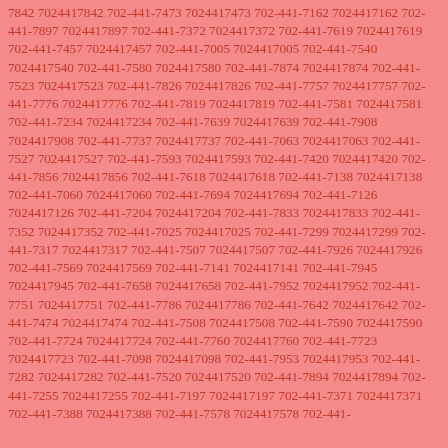7842 7024417842 702-441-7473 7024417473 702-441-7162 7024417162 702-441-7897 7024417897 702-441-7372 7024417372 702-441-7619 7024417619 702-441-7457 7024417457 702-441-7005 7024417005 702-441-7540 7024417540 702-441-7580 7024417580 702-441-7874 7024417874 702-441-7523 7024417523 702-441-7826 7024417826 702-441-7757 7024417757 702-441-7776 7024417776 702-441-7819 7024417819 702-441-7581 7024417581 702-441-7234 7024417234 702-441-7639 7024417639 702-441-7908 7024417908 702-441-7737 7024417737 702-441-7063 7024417063 702-441-7527 7024417527 702-441-7593 7024417593 702-441-7420 7024417420 702-441-7856 7024417856 702-441-7618 7024417618 702-441-7138 7024417138 702-441-7060 7024417060 702-441-7694 7024417694 702-441-7126 7024417126 702-441-7204 7024417204 702-441-7833 7024417833 702-441-7352 7024417352 702-441-7025 7024417025 702-441-7299 7024417299 702-441-7317 7024417317 702-441-7507 7024417507 702-441-7926 7024417926 702-441-7569 7024417569 702-441-7141 7024417141 702-441-7945 7024417945 702-441-7658 7024417658 702-441-7952 7024417952 702-441-7751 7024417751 702-441-7786 7024417786 702-441-7642 7024417642 702-441-7474 7024417474 702-441-7508 7024417508 702-441-7590 7024417590 702-441-7724 7024417724 702-441-7760 7024417760 702-441-7723 7024417723 702-441-7098 7024417098 702-441-7953 7024417953 702-441-7282 7024417282 702-441-7520 7024417520 702-441-7894 7024417894 702-441-7255 7024417255 702-441-7197 7024417197 702-441-7371 7024417371 702-441-7388 7024417388 702-441-7578 7024417578 702-441-